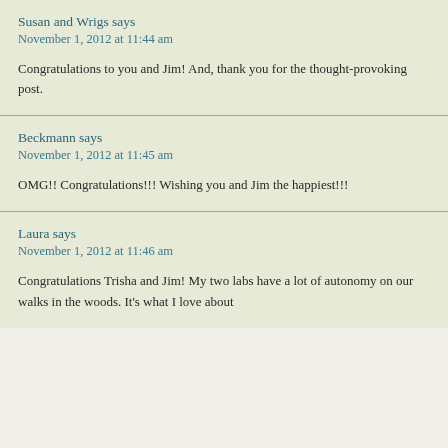Susan and Wrigs says
November 1, 2012 at 11:44 am
Congratulations to you and Jim! And, thank you for the thought-provoking post.
Beckmann says
November 1, 2012 at 11:45 am
OMG!! Congratulations!!! Wishing you and Jim the happiest!!!
Laura says
November 1, 2012 at 11:46 am
Congratulations Trisha and Jim! My two labs have a lot of autonomy on our walks in the woods. It’s what I love about